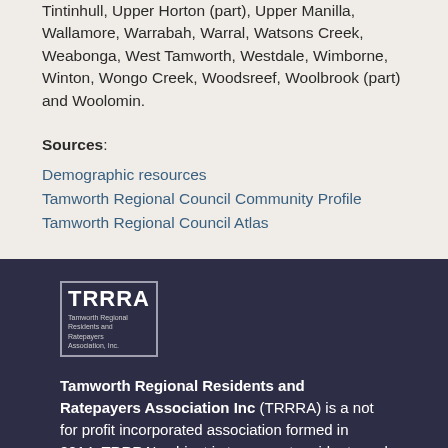Tintinhull, Upper Horton (part), Upper Manilla, Wallamore, Warrabah, Warral, Watsons Creek, Weabonga, West Tamworth, Westdale, Wimborne, Winton, Wongo Creek, Woodsreef, Woolbrook (part) and Woolomin.
Sources: Demographic resources Tamworth Regional Council Community Profile Tamworth Regional Council Atlas
[Figure (logo): TRRRA logo - Tamworth Regional Residents and Ratepayers Association, Inc.]
Tamworth Regional Residents and Ratepayers Association Inc (TRRRA) is a not for profit incorporated association formed in 2014. TRRRA's object is to support residents and ratepayers of the Tamworth Regional Council area with regional and local government issues. TRRRA